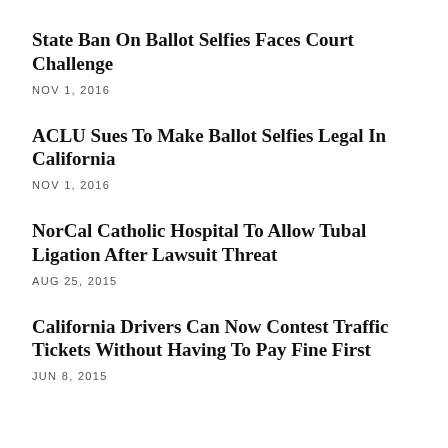State Ban On Ballot Selfies Faces Court Challenge
NOV 1, 2016
ACLU Sues To Make Ballot Selfies Legal In California
NOV 1, 2016
NorCal Catholic Hospital To Allow Tubal Ligation After Lawsuit Threat
AUG 25, 2015
California Drivers Can Now Contest Traffic Tickets Without Having To Pay Fine First
JUN 8, 2015